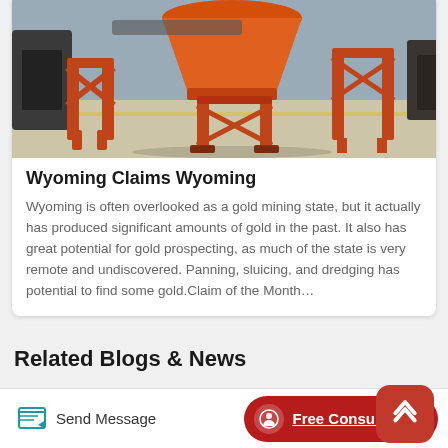[Figure (photo): Industrial mining equipment — orange/red metal frame structure with conveyor or sluice machinery on a warehouse floor]
Wyoming Claims Wyoming
Wyoming is often overlooked as a gold mining state, but it actually has produced significant amounts of gold in the past. It also has great potential for gold prospecting, as much of the state is very remote and undiscovered. Panning, sluicing, and dredging has potential to find some gold.Claim of the Month…
Related Blogs & News
Send Message   Free Consultation